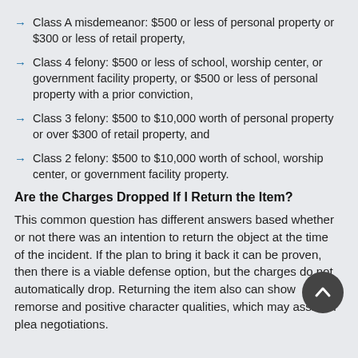Class A misdemeanor: $500 or less of personal property or $300 or less of retail property,
Class 4 felony: $500 or less of school, worship center, or government facility property, or $500 or less of personal property with a prior conviction,
Class 3 felony: $500 to $10,000 worth of personal property or over $300 of retail property, and
Class 2 felony: $500 to $10,000 worth of school, worship center, or government facility property.
Are the Charges Dropped If I Return the Item?
This common question has different answers based whether or not there was an intention to return the object at the time of the incident. If the plan to bring it back it can be proven, then there is a viable defense option, but the charges do not automatically drop. Returning the item also can show remorse and positive character qualities, which may assist in plea negotiations.